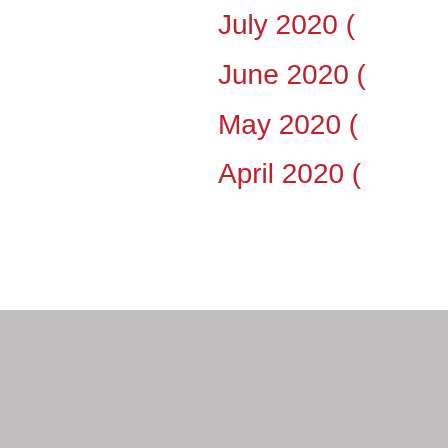July 2020 (
June 2020 (
May 2020 (
April 2020 (
EXPERTISE
Data Integration
Technology
Loan Servicing